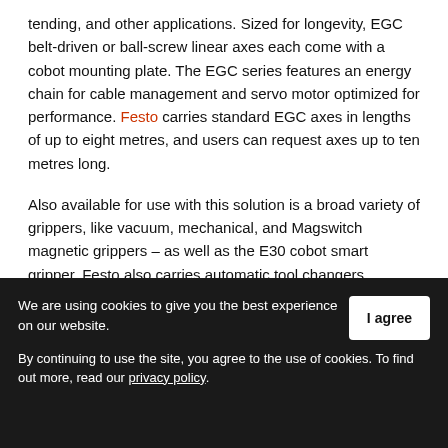tending, and other applications. Sized for longevity, EGC belt-driven or ball-screw linear axes each come with a cobot mounting plate. The EGC series features an energy chain for cable management and servo motor optimized for performance. Festo carries standard EGC axes in lengths of up to eight metres, and users can request axes up to ten metres long.
Also available for use with this solution is a broad variety of grippers, like vacuum, mechanical, and Magswitch magnetic grippers – as well as the E30 cobot smart gripper. Festo also carries automatic tool changers.
We are using cookies to give you the best experience on our website. By continuing to use the site, you agree to the use of cookies. To find out more, read our privacy policy.